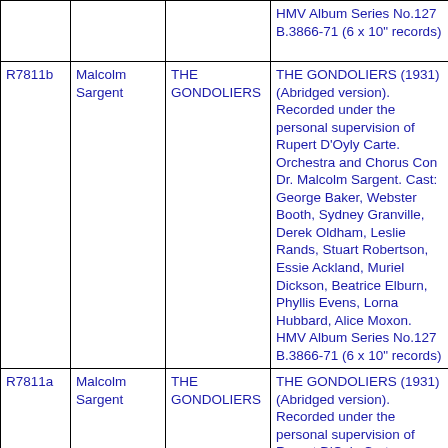| ID | Conductor | Title | Description |
| --- | --- | --- | --- |
|  |  |  | HMV Album Series No.127 B.3866-71 (6 x 10" records) |
| R7811b | Malcolm Sargent | THE GONDOLIERS | THE GONDOLIERS (1931) (Abridged version). Recorded under the personal supervision of Rupert D'Oyly Carte. Orchestra and Chorus Con Dr. Malcolm Sargent. Cast: George Baker, Webster Booth, Sydney Granville, Derek Oldham, Leslie Rands, Stuart Robertson, Essie Ackland, Muriel Dickson, Beatrice Elburn, Phyllis Evens, Lorna Hubbard, Alice Moxon. HMV Album Series No.127 B.3866-71 (6 x 10" records) |
| R7811a | Malcolm Sargent | THE GONDOLIERS | THE GONDOLIERS (1931) (Abridged version). Recorded under the personal supervision of Rupert D'Oyly Carte. Orchestra and Chorus Con Dr. Malcolm Sargent. Cast: George Baker, Webster Booth, Sydney Granville, Derek Oldham, Leslie Rands, Stuart Robertson, |